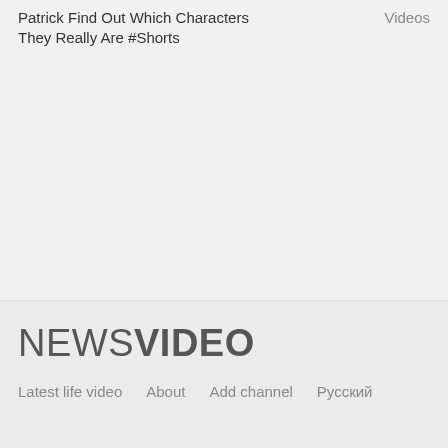Patrick Find Out Which Characters They Really Are #Shorts
Videos
NEWSVIDEO
Latest life video    About    Add channel    Русский